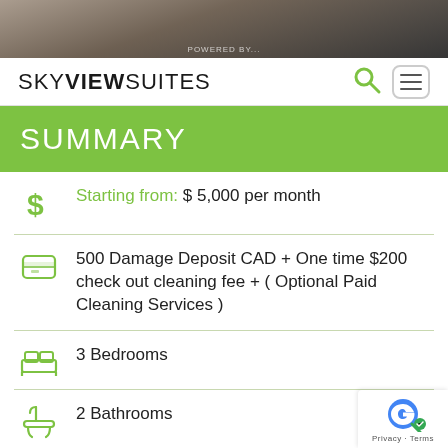[Figure (photo): Top banner image showing interior scene, dark overlay]
SKYVIEWSUITES
SUMMARY
Starting from: $ 5,000 per month
500 Damage Deposit CAD + One time $200 check out cleaning fee + ( Optional Paid Cleaning Services )
3 Bedrooms
2 Bathrooms
1000 Square Feet